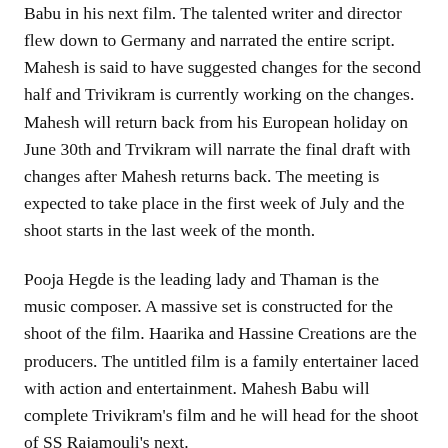Babu in his next film. The talented writer and director flew down to Germany and narrated the entire script. Mahesh is said to have suggested changes for the second half and Trivikram is currently working on the changes. Mahesh will return back from his European holiday on June 30th and Trvikram will narrate the final draft with changes after Mahesh returns back. The meeting is expected to take place in the first week of July and the shoot starts in the last week of the month.
Pooja Hegde is the leading lady and Thaman is the music composer. A massive set is constructed for the shoot of the film. Haarika and Hassine Creations are the producers. The untitled film is a family entertainer laced with action and entertainment. Mahesh Babu will complete Trivikram's film and he will head for the shoot of SS Rajamouli's next.
Telugu360 is always open for the best and bright journalists.